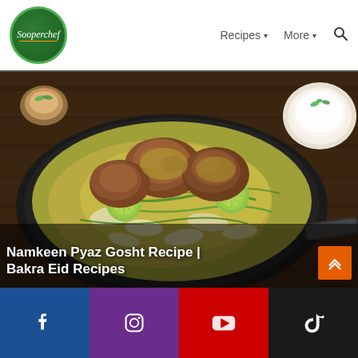[Figure (logo): Sooperchef logo — green circular badge with italic white text 'Sooperchef' and orange swoosh]
Recipes ▾   More ▾   🔍
[Figure (photo): Overhead photo of Namkeen Pyaz Gosht — mutton pieces with onion and lime slices in a dark round pan on a wooden board, with raita in background]
Namkeen Pyaz Gosht Recipe | Bakra Eid Recipes
[Figure (infographic): Social media bar with Facebook, Instagram, YouTube, and TikTok icons]
Facebook  Instagram  YouTube  TikTok